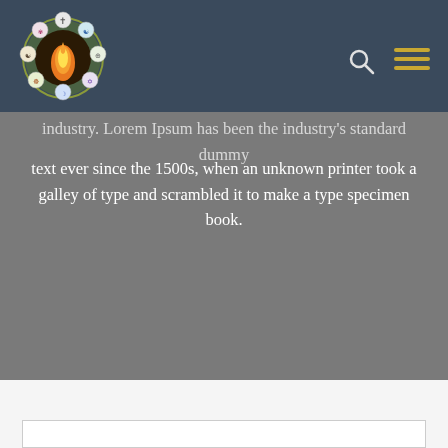[Figure (logo): Circular logo with flame in center surrounded by religious symbols (cross, yin-yang, dharma wheel, etc.) arranged in a circle on a dark navy header bar]
industry. Lorem Ipsum has been the industry's standard dummy text ever since the 1500s, when an unknown printer took a galley of type and scrambled it to make a type specimen book.